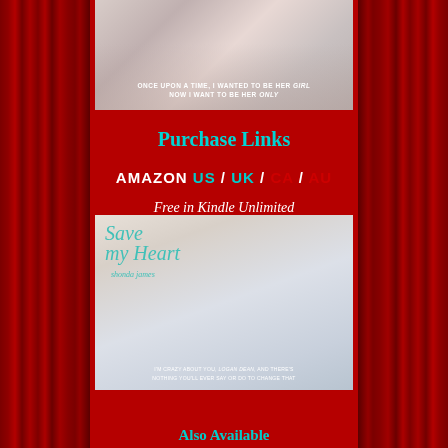[Figure (photo): Book cover showing a couple lying together, with text overlay: ONCE UPON A TIME, I WANTED TO BE HER girl / NOW I WANT TO BE HER only]
Purchase Links
AMAZON US / UK / CA / AU
Free in Kindle Unlimited
[Figure (photo): Book cover for 'Save My Heart' by shonda james, showing a couple with text: I'M CRAZY ABOUT YOU, and THERE'S NOTHING YOU'LL EVER SAY OR DO TO CHANGE THAT]
Also Available